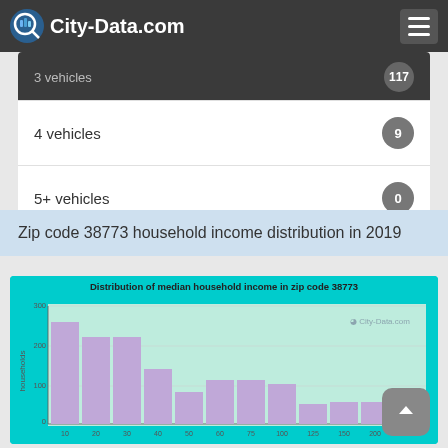City-Data.com
|  |  |
| --- | --- |
| 3 vehicles | 117 |
| 4 vehicles | 9 |
| 5+ vehicles | 0 |
Zip code 38773 household income distribution in 2019
[Figure (histogram): Distribution of median household income in zip code 38773]